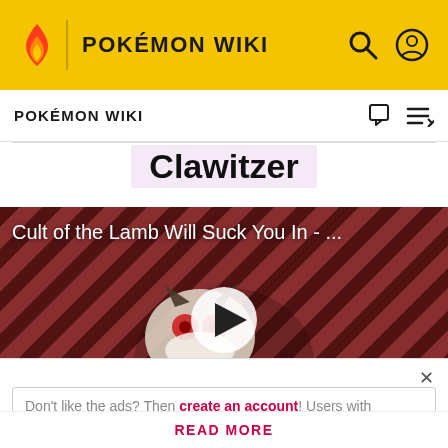POKÉMON WIKI
POKÉMON WIKI
Clawitzer
[Figure (screenshot): Video thumbnail for 'Cult of the Lamb Will Suck You In - ...' with a play button overlay, showing a cartoon character on a diagonal red and dark striped background.]
Don't like the ads? Then create an account! Users with
READ MORE